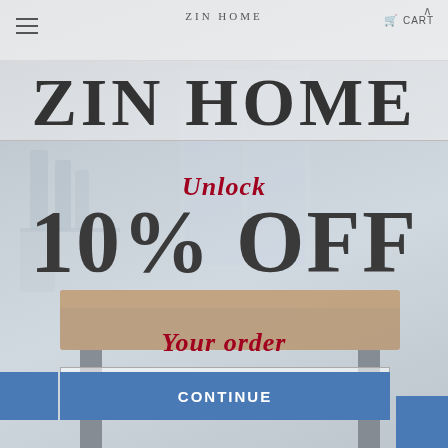ZIN HOME  CART
ZIN HOME
Unlock
10% OFF
[Figure (illustration): Dining table with wooden top and metal legs, shown in a room setting]
Your order
Your email
CONTINUE